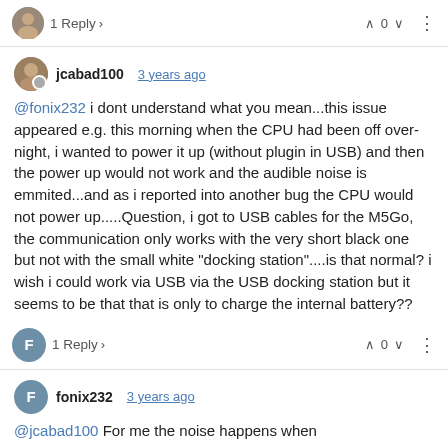1 Reply > ∧ 0 ∨ ⋮
jcabad100 3 years ago
@fonix232 i dont understand what you mean...this issue appeared e.g. this morning when the CPU had been off over-night, i wanted to power it up (without plugin in USB) and then the power up would not work and the audible noise is emmited...and as i reported into another bug the CPU would not power up.....Question, i got to USB cables for the M5Go, the communication only works with the very short black one but not with the small white "docking station"....is that normal? i wish i could work via USB via the USB docking station but it seems to be that that is only to charge the internal battery??
1 Reply > ∧ 0 ∨ ⋮
fonix232 3 years ago
@jcabad100 For me the noise happens when
1. The FIRE is turned on and I press the power button (the one next to the USB port)